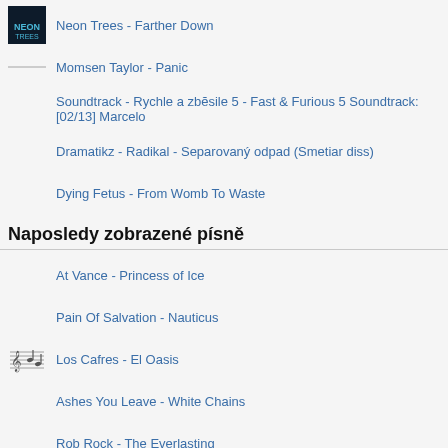Neon Trees - Farther Down
Momsen Taylor - Panic
Soundtrack - Rychle a zbĕsile 5 - Fast & Furious 5 Soundtrack: [02/13] Marcelo
Dramatikz - Radikal - Separovaný odpad (Smetiar diss)
Dying Fetus - From Womb To Waste
Naposledy zobrazené písně
At Vance - Princess of Ice
Pain Of Salvation - Nauticus
Los Cafres - El Oasis
Ashes You Leave - White Chains
Rob Rock - The Everlasting
Helene Fischer - Und morgen früh küss ich dich wach
Neil Diamond - Dear Father
Katy Perry - My Own Monster